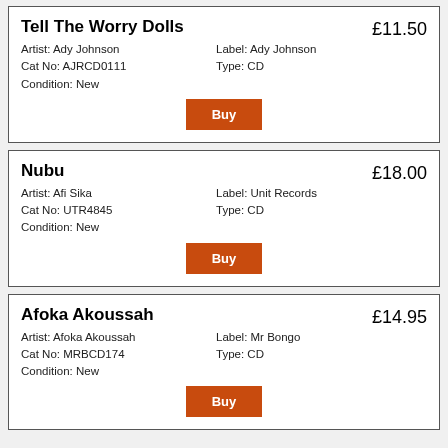Tell The Worry Dolls
£11.50
Artist: Ady Johnson
Cat No: AJRCD0111
Condition: New
Label: Ady Johnson
Type: CD
Nubu
£18.00
Artist: Afi Sika
Cat No: UTR4845
Condition: New
Label: Unit Records
Type: CD
Afoka Akoussah
£14.95
Artist: Afoka Akoussah
Cat No: MRBCD174
Condition: New
Label: Mr Bongo
Type: CD